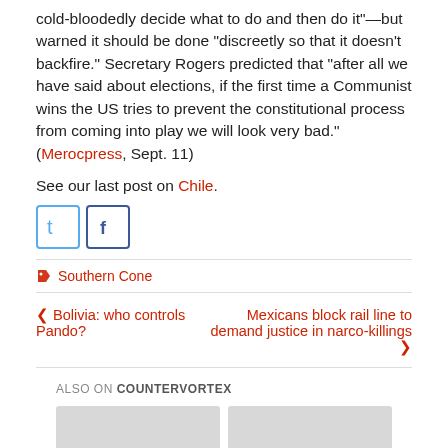cold-bloodedly decide what to do and then do it”—but warned it should be done “discreetly so that it doesn’t backfire.” Secretary Rogers predicted that “after all we have said about elections, if the first time a Communist wins the US tries to prevent the constitutional process from coming into play we will look very bad.” (Merocpress, Sept. 11)
See our last post on Chile.
[Figure (other): Twitter and Facebook social sharing icons]
Southern Cone
Bolivia: who controls Pando?
Mexicans block rail line to demand justice in narco-killings
ALSO ON COUNTERVORTEX
[Figure (other): Two content cards showing months ago and comment counts: left card shows months ago • 1 comment, right card shows 6 months ago • 4 comments]